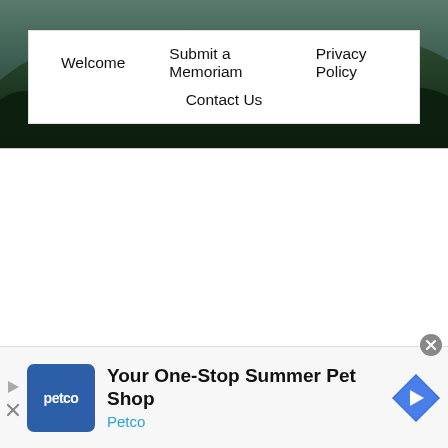[Figure (photo): Forest/mountain landscape background header image with dark green trees and hills]
Welcome   Submit a Memoriam   Privacy Policy   Contact Us
[Figure (infographic): Petco advertisement banner: 'Your One-Stop Summer Pet Shop' with Petco logo and navigation icon]